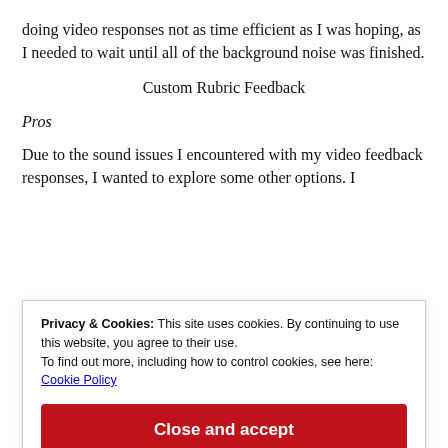doing video responses not as time efficient as I was hoping, as I needed to wait until all of the background noise was finished.
Custom Rubric Feedback
Pros
Due to the sound issues I encountered with my video feedback responses, I wanted to explore some other options. I
Privacy & Cookies: This site uses cookies. By continuing to use this website, you agree to their use.
To find out more, including how to control cookies, see here:
Cookie Policy
Close and accept
being possible. I noticed that I really